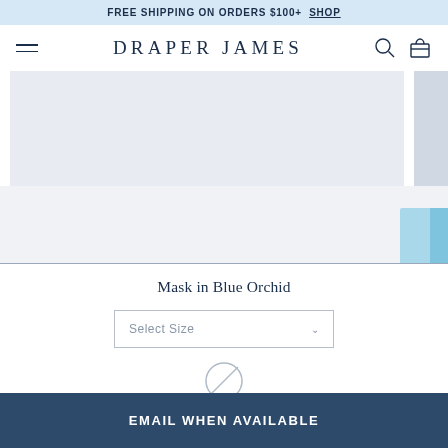FREE SHIPPING ON ORDERS $100+ SHOP
DRAPER JAMES
[Figure (photo): Product image area showing a light blue/grey placeholder for a mask product in Blue Orchid, with a small blue accent in bottom right]
Mask in Blue Orchid
Select Size
[Figure (illustration): Out of stock circle-slash icon indicating product is unavailable]
EMAIL WHEN AVAILABLE